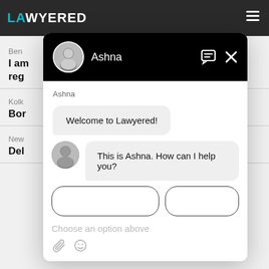[Figure (screenshot): Screenshot of Lawyered website with a chat popup overlay. The background shows the Lawyered website with dark navigation bar containing the logo and hamburger menu, and some content rows visible behind the popup. The chat popup shows agent 'Ashna' with messages 'Welcome to Lawyered!' and 'This is Ashna. How can I help you?', quick reply buttons, placeholder 'Choose an option above', and attachment/emoji icons at the bottom.]